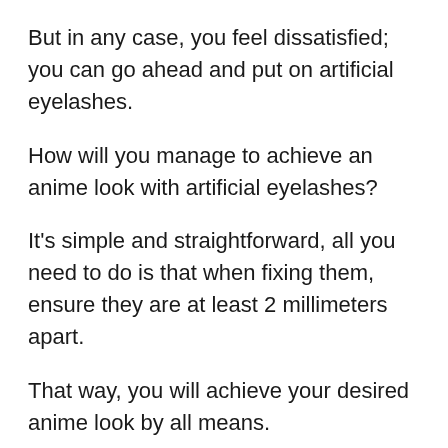But in any case, you feel dissatisfied; you can go ahead and put on artificial eyelashes.
How will you manage to achieve an anime look with artificial eyelashes?
It's simple and straightforward, all you need to do is that when fixing them, ensure they are at least 2 millimeters apart.
That way, you will achieve your desired anime look by all means.
What more can you ask for at this juncture?
It's all that you have wanted to achieve, so go